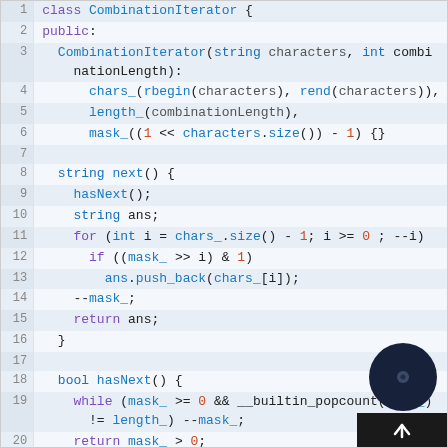[Figure (screenshot): Code editor screenshot showing C++ class CombinationIterator with line numbers 1-26, syntax highlighted in blue, purple, and red/orange on a light blue-grey background.]